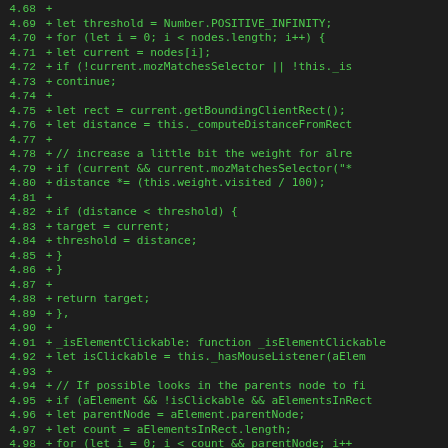Code diff showing lines 4.68-4.99 with additions marked by +
4.68 +
4.69 +     let threshold = Number.POSITIVE_INFINITY;
4.70 +     for (let i = 0; i < nodes.length; i++) {
4.71 +       let current = nodes[i];
4.72 +       if (!current.mozMatchesSelector || !this._is
4.73 +         continue;
4.74 +
4.75 +       let rect = current.getBoundingClientRect();
4.76 +       let distance = this._computeDistanceFromRect
4.77 +
4.78 +       // increase a little bit the weight for alre
4.79 +       if (current && current.mozMatchesSelector("*
4.80 +         distance *= (this.weight.visited / 100);
4.81 +
4.82 +       if (distance < threshold) {
4.83 +         target = current;
4.84 +         threshold = distance;
4.85 +       }
4.86 +     }
4.87 +
4.88 +     return target;
4.89 +   },
4.90 +
4.91 +   _isElementClickable: function _isElementClickable
4.92 +     let isClickable = this._hasMouseListener(aElem
4.93 +
4.94 +     // If possible looks in the parents node to fi
4.95 +     if (aElement && !isClickable && aElementsInRect
4.96 +       let parentNode = aElement.parentNode;
4.97 +       let count = aElementsInRect.length;
4.98 +       for (let i = 0; i < count && parentNode; i++
4.99 +         if (aElementsInRect[i] != parentNode)